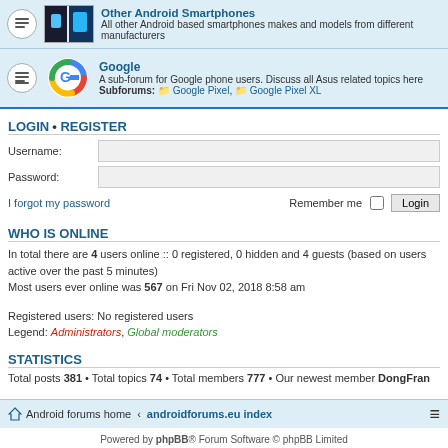Other Android Smartphones - All other Android based smartphones makes and models from different manufacturers
Google - A sub-forum for Google phone users. Discuss all Asus related topics here. Subforums: Google Pixel, Google Pixel XL
LOGIN • REGISTER
Username:
Password:
I forgot my password
Remember me  Login
WHO IS ONLINE
In total there are 4 users online :: 0 registered, 0 hidden and 4 guests (based on users active over the past 5 minutes)
Most users ever online was 567 on Fri Nov 02, 2018 8:58 am
Registered users: No registered users
Legend: Administrators, Global moderators
STATISTICS
Total posts 381 • Total topics 74 • Total members 777 • Our newest member DongFran
Android forums home · androidforums.eu index
Powered by phpBB® Forum Software © phpBB Limited